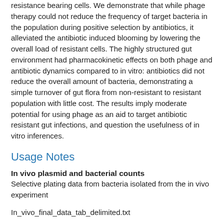resistance bearing cells. We demonstrate that while phage therapy could not reduce the frequency of target bacteria in the population during positive selection by antibiotics, it alleviated the antibiotic induced blooming by lowering the overall load of resistant cells. The highly structured gut environment had pharmacokinetic effects on both phage and antibiotic dynamics compared to in vitro: antibiotics did not reduce the overall amount of bacteria, demonstrating a simple turnover of gut flora from non-resistant to resistant population with little cost. The results imply moderate potential for using phage as an aid to target antibiotic resistant gut infections, and question the usefulness of in vitro inferences.
Usage Notes
In vivo plasmid and bacterial counts
Selective plating data from bacteria isolated from the in vivo experiment
In_vivo_final_data_tab_delimited.txt
In vitro plating data